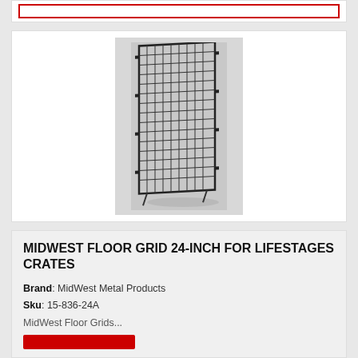[Figure (photo): A rectangular metal wire floor grid panel for pet crates, shown leaning slightly, photographed against a light gray background.]
MIDWEST FLOOR GRID 24-INCH FOR LIFESTAGES CRATES
Brand: MidWest Metal Products
Sku: 15-836-24A
MidWest Floor Grids...